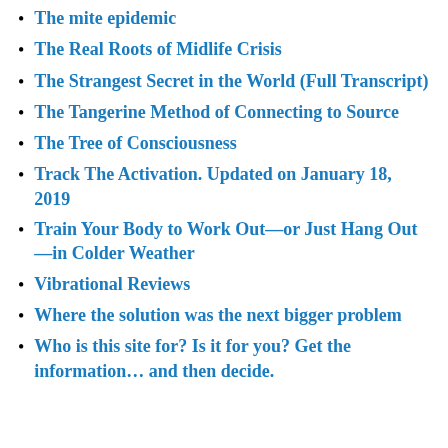The mite epidemic
The Real Roots of Midlife Crisis
The Strangest Secret in the World (Full Transcript)
The Tangerine Method of Connecting to Source
The Tree of Consciousness
Track The Activation. Updated on January 18, 2019
Train Your Body to Work Out—or Just Hang Out—in Colder Weather
Vibrational Reviews
Where the solution was the next bigger problem
Who is this site for? Is it for you? Get the information… and then decide.